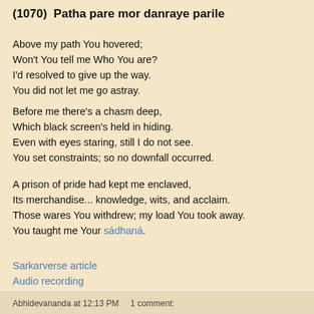(1070)  Patha pare mor danraye parile
Above my path You hovered;
Won't You tell me Who You are?
I'd resolved to give up the way.
You did not let me go astray.
Before me there's a chasm deep,
Which black screen's held in hiding.
Even with eyes staring, still I do not see.
You set constraints; so no downfall occurred.
A prison of pride had kept me enclaved,
Its merchandise... knowledge, wits, and acclaim.
Those wares You withdrew; my load You took away.
You taught me Your sádhaná.
Sarkarverse article
Audio recording
Abhidevananda at 12:13 PM    1 comment: